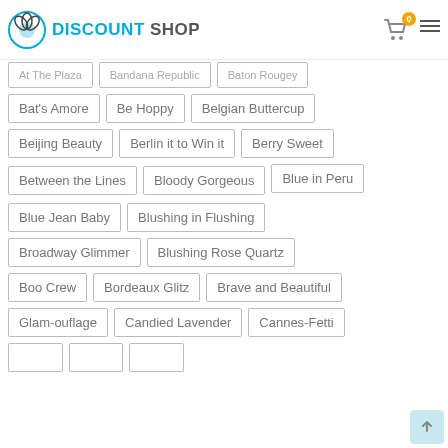DISCOUNT SHOP
At The Plaza
Bandana Republic
Baton Rougey
Bat's Amore
Be Hoppy
Belgian Buttercup
Beijing Beauty
Berlin it to Win it
Berry Sweet
Between the Lines
Bloody Gorgeous
Blue in Peru
Blue Jean Baby
Blushing in Flushing
Broadway Glimmer
Blushing Rose Quartz
Boo Crew
Bordeaux Glitz
Brave and Beautiful
Glam-ouflage
Candied Lavender
Cannes-Fetti